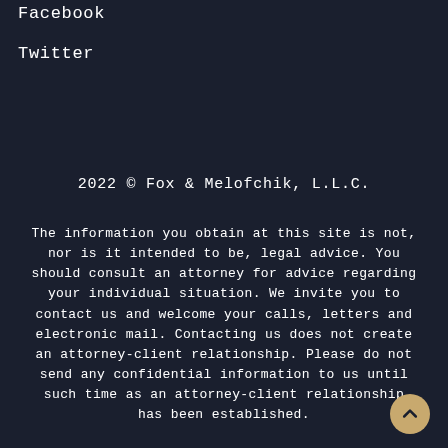Facebook
Twitter
2022 © Fox & Melofchik, L.L.C.
The information you obtain at this site is not, nor is it intended to be, legal advice. You should consult an attorney for advice regarding your individual situation. We invite you to contact us and welcome your calls, letters and electronic mail. Contacting us does not create an attorney-client relationship. Please do not send any confidential information to us until such time as an attorney-client relationship has been established.